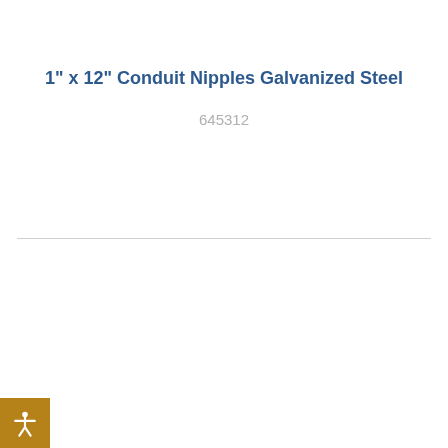1" x 12" Conduit Nipples Galvanized Steel
645312
[Figure (other): Accessibility icon button - gold/brown square with white person/accessibility symbol]